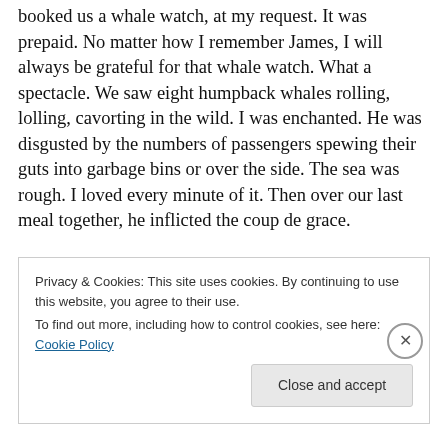booked us a whale watch, at my request. It was prepaid. No matter how I remember James, I will always be grateful for that whale watch. What a spectacle. We saw eight humpback whales rolling, lolling, cavorting in the wild. I was enchanted. He was disgusted by the numbers of passengers spewing their guts into garbage bins or over the side. The sea was rough. I loved every minute of it. Then over our last meal together, he inflicted the coup de grace.

“What did you do this morning when you went out so early?” He asked with an air of near-honest interest
Privacy & Cookies: This site uses cookies. By continuing to use this website, you agree to their use.
To find out more, including how to control cookies, see here: Cookie Policy